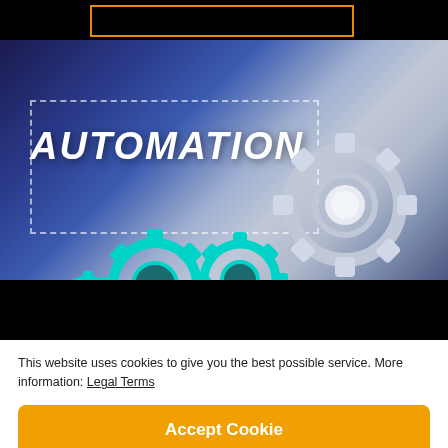[Figure (screenshot): Website screenshot showing a cookie consent banner overlaid on a webpage. The top portion shows a dark header with an orange-bordered rectangle. Below is a hero image with text 'AUTOMATION' in white italic bold letters, with teal/cyan gear icons and a hand touching a white gear, on a blue-purple gradient background. A black strip separates the hero from the cookie banner below. The cookie banner has white background with text about cookies, and two orange rounded-rectangle buttons: 'Accept Cookie' and 'Disable Cookie'.]
This website uses cookies to give you the best possible service. More information: Legal Terms
Accept Cookie
Disable Cookie